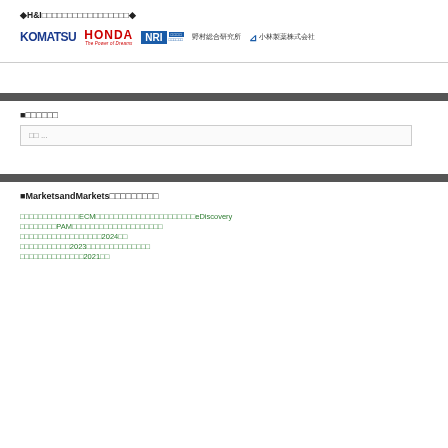◆H&I□□□□□□□□□□□□□□□□□◆
[Figure (logo): Company logos row: KOMATSU, HONDA The Power of Dreams, NRI 野村総合研究所, 小林製薬株式会社]
■□□□□□□
□□ ...
■MarketsandMarkets□□□□□□□□□
□□□□□□□□□□□□□ECM□□□□□□□□□□□□□□□□□□□□□□eDiscovery
□□□□□□□□PAM□□□□□□□□□□□□□□□□□□□□
□□□□□□□□□□□□□□□□□□2024□□
□□□□□□□□□□□2023□□□□□□□□□□□□□□
□□□□□□□□□□□□□□2021□□